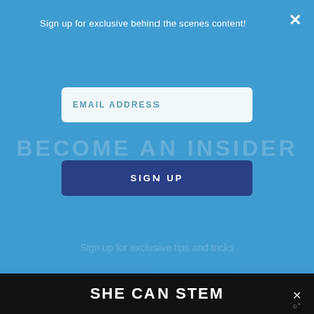Sign up for exclusive behind the scenes content!
EMAIL ADDRESS
SIGN UP
BECOME AN INSIDER
Sign up for exclusive tips and tricks
[Figure (screenshot): Faded grid of four thumbnail images of artworks/crafts]
[Figure (logo): Dark red/maroon decorative pixel/quilt-style logo icon for Maureen oConnor]
Maureen oConnor says
April 22, 2020 at 1:15 pm
Love this! The rug really tied it all up!
SHE CAN STEM